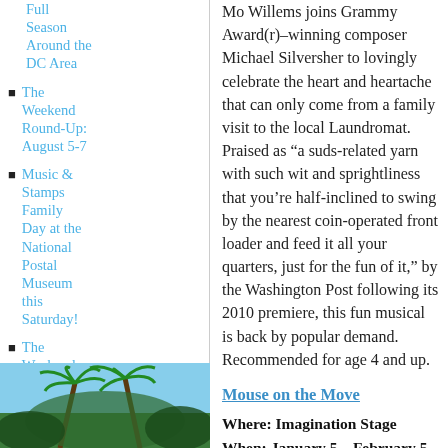Full Season Around the DC Area
The Weekend Round-Up: August 5-7
Music & Stamps Family Day at the National Postal Museum this Saturday!
The Weekend Round-Up: July 29-31
[Figure (photo): Photo of palm trees against a blue sky]
Mo Willems joins Grammy Award(r)–winning composer Michael Silversher to lovingly celebrate the heart and heartache that can only come from a family visit to the local Laundromat. Praised as "a suds-related yarn with such wit and sprightliness that you're half-inclined to swing by the nearest coin-operated front loader and feed it all your quarters, just for the fun of it," by the Washington Post following its 2010 premiere, this fun musical is back by popular demand. Recommended for age 4 and up.
Mouse on the Move
Where: Imagination Stage
When: January 5 – February 5
Tickets: $10